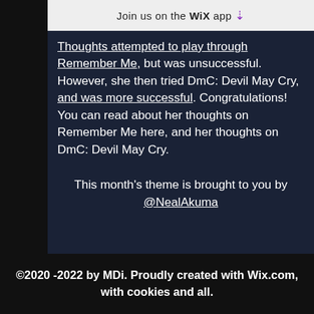Join us on the WiX app ↓
Thoughts attempted to play through Remember Me, but was unsuccessful. However, she then tried DmC: Devil May Cry, and was more successful. Congratulations! You can read about her thoughts on Remember Me here, and her thoughts on DmC: Devil May Cry.
This month's theme is brought to you by @NealAkuma
©2020 -2022 by MDi. Proudly created with Wix.com, with cookies and all.